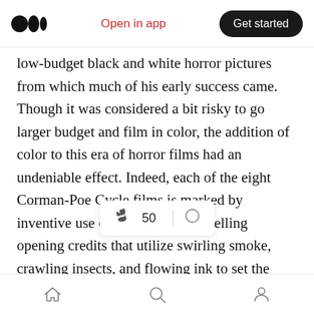Open in app | Get started
low-budget black and white horror pictures from which much of his early success came. Though it was considered a bit risky to go larger budget and film in color, the addition of color to this era of horror films had an undeniable effect. Indeed, each of the eight Corman-Poe Cycle films is marked by inventive use of color, with compelling opening credits that utilize swirling smoke, crawling insects, and flowing ink to set the mood.
Color is indeed one of the most noticeable things throughout, with The House of Usher's clouds of
Home | Search | Profile